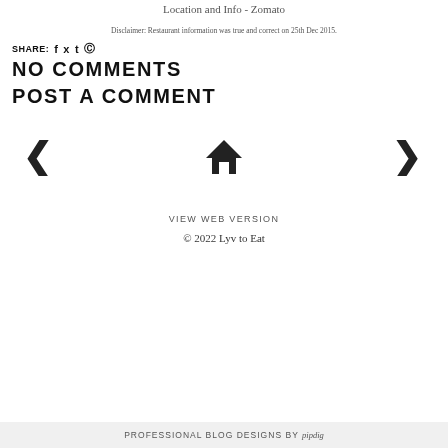Location and Info - Zomato
Disclaimer: Restaurant information was true and correct on 25th Dec 2015.
SHARE: f t t p
NO COMMENTS
POST A COMMENT
[Figure (other): Navigation row with left arrow, home icon, and right arrow]
VIEW WEB VERSION
© 2022 Lyv to Eat
PROFESSIONAL BLOG DESIGNS BY pipdig